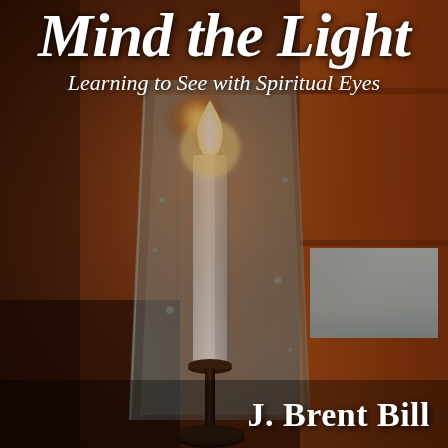[Figure (photo): Book cover photograph showing a white candle in a dark candlestick holder inside a tall glass hurricane lamp, with warm amber/orange tones from wooden paneling in the background and a snowy scene reflected in the glass.]
Mind the Light
Learning to See with Spiritual Eyes
J. Brent Bill